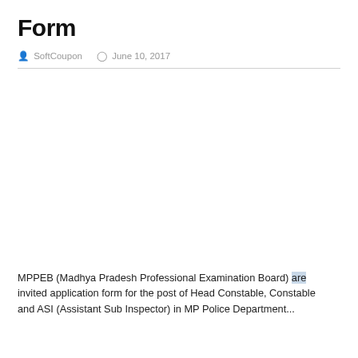Form
SoftCoupon   June 10, 2017
[Figure (other): Blank white image placeholder area]
MPPEB (Madhya Pradesh Professional Examination Board) are invited application form for the post of Head Constable, Constable and ASI (Assistant Sub Inspector) in MP Police Department...